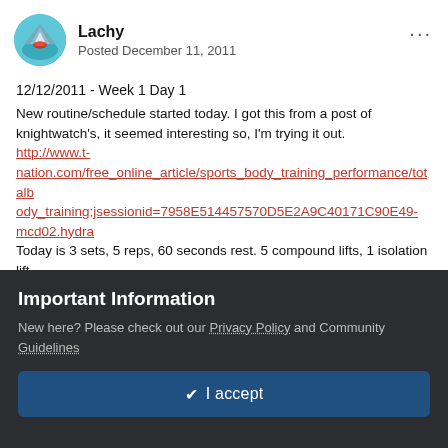[Figure (photo): Circular avatar image of user Lachy showing a mountain/kayaking scene with teal water and red kayak]
Lachy
Posted December 11, 2011
12/12/2011 - Week 1 Day 1
New routine/schedule started today. I got this from a post of knightwatch's, it seemed interesting so, I'm trying it out.
http://www.t-nation.com/free_online_article/sports_body_training_performance/totalbody_training;jsessionid=7958E514457570D5E2A9C40171C90E49-mcd02.hydra
Today is 3 sets, 5 reps, 60 seconds rest. 5 compound lifts, 1 isolation lift.
I put in warm up sets as needed, but won't detail them.
Widegrip Pullups
3 x 5 @ Bodyweight
Important Information
New here? Please check out our Privacy Policy and Community Guidelines
✔ I accept